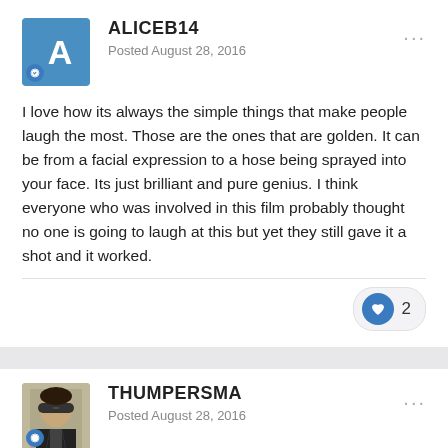ALICEB14
Posted August 28, 2016
I love how its always the simple things that make people laugh the most. Those are the ones that are golden. It can be from a facial expression to a hose being sprayed into your face. Its just brilliant and pure genius. I think everyone who was involved in this film probably thought no one is going to laugh at this but yet they still gave it a shot and it worked.
THUMPERSMA
Posted August 28, 2016
On 8/28/2016 at 2:28 PM, DebEd said:
For me, the hilarity of slapstick is the anticipation, being privy to